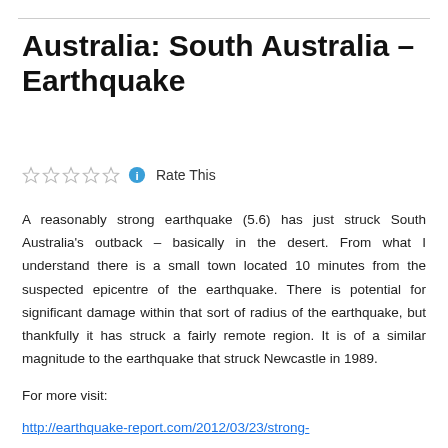Australia: South Australia – Earthquake
☆☆☆☆☆ ℹ Rate This
A reasonably strong earthquake (5.6) has just struck South Australia's outback – basically in the desert. From what I understand there is a small town located 10 minutes from the suspected epicentre of the earthquake. There is potential for significant damage within that sort of radius of the earthquake, but thankfully it has struck a fairly remote region. It is of a similar magnitude to the earthquake that struck Newcastle in 1989.
For more visit:
http://earthquake-report.com/2012/03/23/strong-